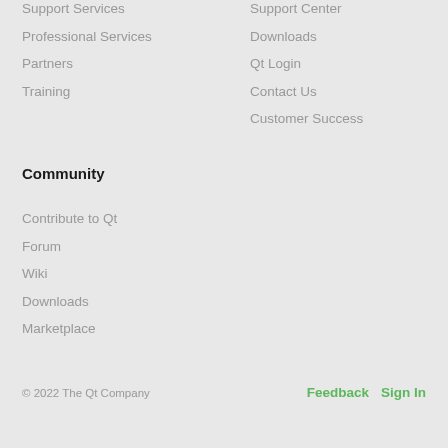Support Services
Professional Services
Partners
Training
Support Center
Downloads
Qt Login
Contact Us
Customer Success
Community
Contribute to Qt
Forum
Wiki
Downloads
Marketplace
© 2022 The Qt Company    Feedback    Sign In